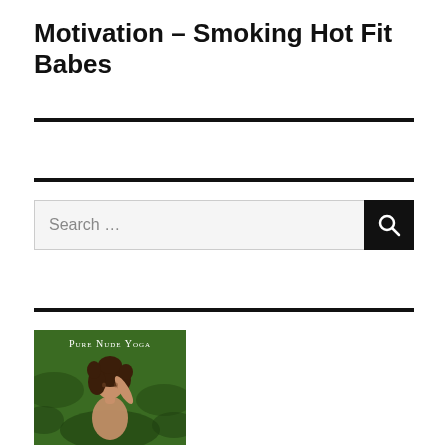Motivation – Smoking Hot Fit Babes
[Figure (photo): Photo with text overlay 'Pure Nude Yoga' showing a woman with curly hair against a green leafy background]